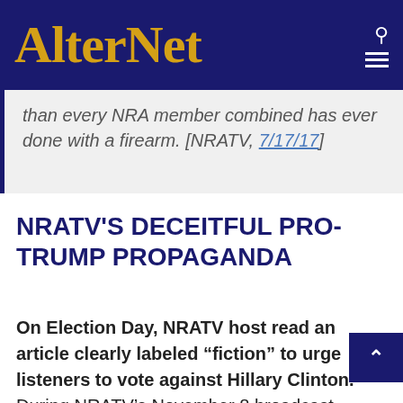AlterNet
than every NRA member combined has ever done with a firearm. [NRATV, 7/17/17]
NRATV'S DECEITFUL PRO-TRUMP PROPAGANDA
On Election Day, NRATV host read an article clearly labeled “fiction” to urge listeners to vote against Hillary Clinton. During NRATV’s November 8 broadcast, Stinchfield cited an article from an NRA magazine labeled a “work of fiction” that